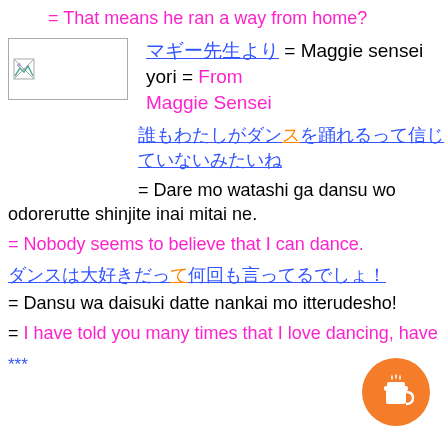= That means he ran a way from home?
[Figure (logo): Small image logo placeholder box with broken image icon]
マギー先生より = Maggie sensei yori = From Maggie Sensei
誰もわたしがダンスを踊れるって信じていないみたいね。
= Dare mo watashi ga dansu wo odorerutte shinjite inai mitai ne.
= Nobody seems to believe that I can dance.
ダンスは大好きだって何回も言ってるでしょ！
= Dansu wa daisuki datte nankai mo itterudesho!
= I have told you many times that I love dancing, have
***